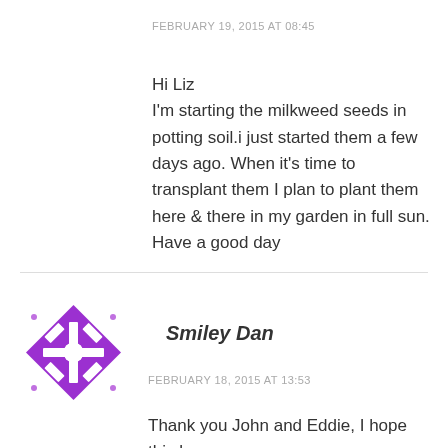FEBRUARY 19, 2015 AT 08:45
Hi Liz
I'm starting the milkweed seeds in potting soil.i just started them a few days ago. When it's time to transplant them I plan to plant them here & there in my garden in full sun. Have a good day
[Figure (logo): Purple diamond-shaped avatar with snowflake/cross pattern for Smiley Dan]
Smiley Dan
FEBRUARY 18, 2015 AT 13:53
Thank you John and Eddie, I hope this becomes